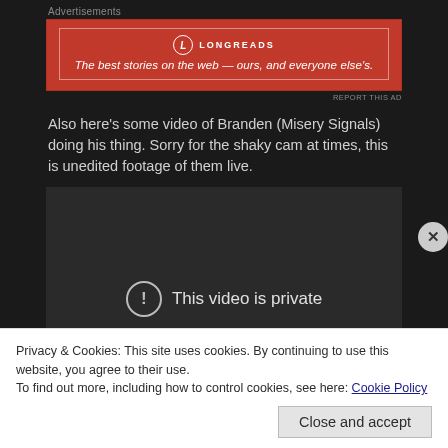Advertisements
[Figure (other): Longreads advertisement banner: red background with white border, logo circle with L, text 'LONGREADS', tagline 'The best stories on the web — ours, and everyone else's.']
REPORT THIS AD
Also here's some video of Branden (Misery Signals) doing his thing. Sorry for the shaky cam at times, this is unedited footage of them live.
[Figure (other): Embedded video player showing 'This video is private' message with exclamation icon on dark background.]
Privacy & Cookies: This site uses cookies. By continuing to use this website, you agree to their use.
To find out more, including how to control cookies, see here: Cookie Policy
Close and accept